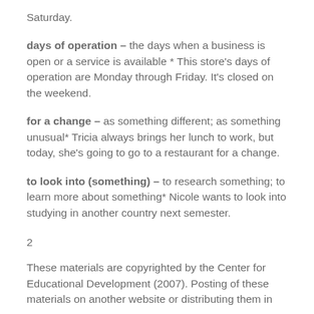Saturday.
days of operation – the days when a business is open or a service is available * This store's days of operation are Monday through Friday. It's closed on the weekend.
for a change – as something different; as something unusual* Tricia always brings her lunch to work, but today, she's going to go to a restaurant for a change.
to look into (something) – to research something; to learn more about something* Nicole wants to look into studying in another country next semester.
2
These materials are copyrighted by the Center for Educational Development (2007). Posting of these materials on another website or distributing them in